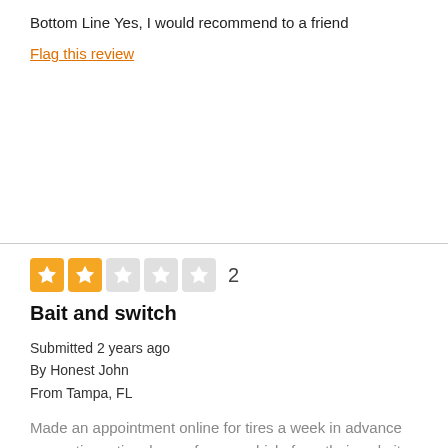Bottom Line Yes, I would recommend to a friend
Flag this review
2 stars rating: 2
Bait and switch
Submitted 2 years ago
By Honest John
From Tampa, FL
Made an appointment online for tires a week in advance requesting a tire chosen for my vehicle from their website. I received a confirmation email and a reminder email about my appointment which was great. But when I arrived not only did they not have my tires, but I was told they weren't available at all. Later I was told that the website only shows national